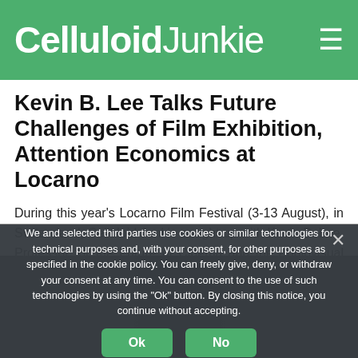Celluloid Junkie
Kevin B. Lee Talks Future Challenges of Film Exhibition, Attention Economics at Locarno
During this year's Locarno Film Festival (3-13 August), in Switzerland, Celluloid Junkie caught up with Kevin B. Lee, Professor for the Future of Cinema and the Audiovisual Arts at Lugano's Università della Svizzera Italiana. We met the lecturer and video essayist after he took part in a one-hour co…
We and selected third parties use cookies or similar technologies for technical purposes and, with your consent, for other purposes as specified in the cookie policy. You can freely give, deny, or withdraw your consent at any time. You can consent to the use of such technologies by using the "Ok" button. By closing this notice, you continue without accepting.
[Figure (screenshot): Dimmed background image of a cinema interior]